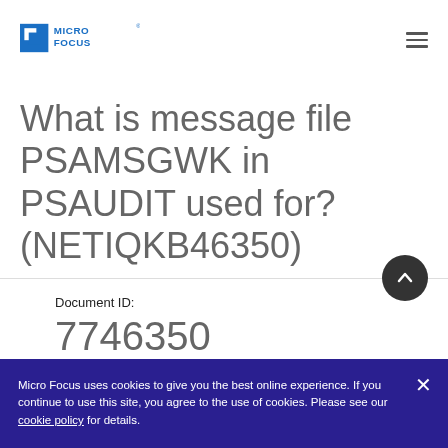[Figure (logo): Micro Focus logo — blue square icon with white cutout square inside, followed by 'MICRO FOCUS' text in blue]
What is message file PSAMSGWK in PSAUDIT used for? (NETIQKB46350)
Document ID:
7746350
Micro Focus uses cookies to give you the best online experience. If you continue to use this site, you agree to the use of cookies. Please see our cookie policy for details.